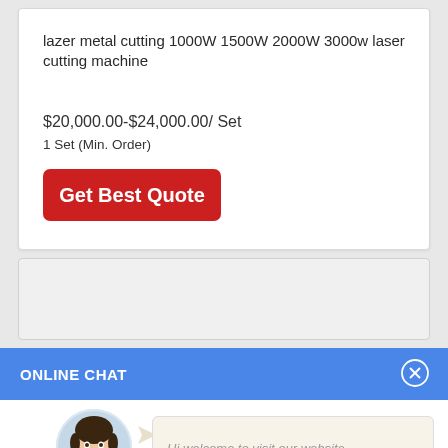lazer metal cutting 1000W 1500W 2000W 3000w laser cutting machine
$20,000.00-$24,000.00/ Set
1 Set (Min. Order)
Get Best Quote
ONLINE CHAT
[Figure (photo): Avatar photo of a woman named Cilina]
Cilina
Hi,welcome to visit our website.